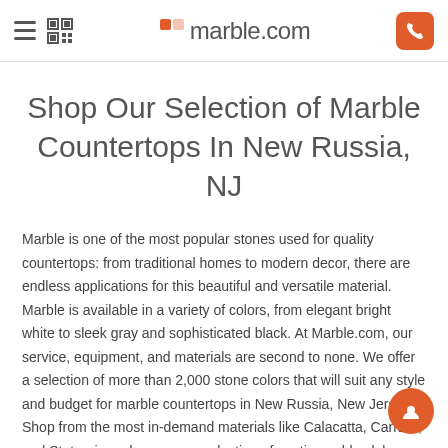marble.com
Shop Our Selection of Marble Countertops In New Russia, NJ
Marble is one of the most popular stones used for quality countertops: from traditional homes to modern decor, there are endless applications for this beautiful and versatile material. Marble is available in a variety of colors, from elegant bright white to sleek gray and sophisticated black. At Marble.com, our service, equipment, and materials are second to none. We offer a selection of more than 2,000 stone colors that will suit any style and budget for marble countertops in New Russia, New Jersey. Shop from the most in-demand materials like Calacatta, Carrara, and Statuario, or browse our selection of exotic marble slabs, some of the most unique pieces in the United States. Our premium quality stone